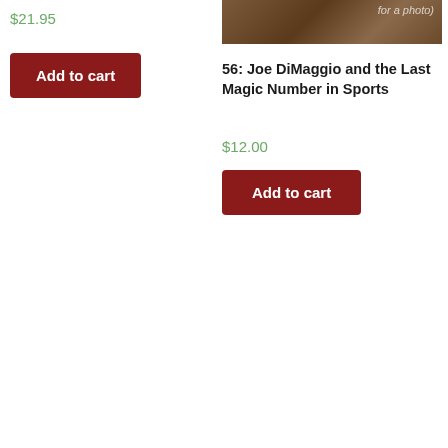$21.95
Add to cart
[Figure (photo): Book cover image partially visible, dark brown tones with text overlay]
56: Joe DiMaggio and the Last Magic Number in Sports
$12.00
Add to cart